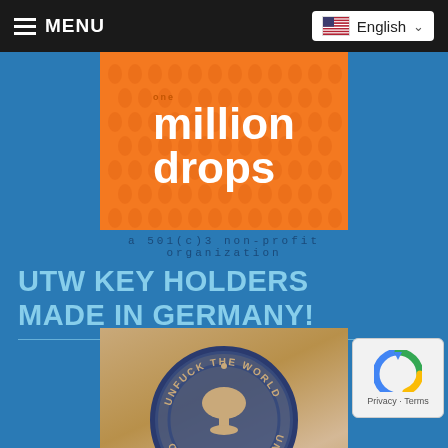MENU | English
[Figure (logo): One Million Drops logo on orange background with water drop pattern. Text reads 'million drops' in white. Subtitle: 'a 501(c)3 non-profit organization']
UTW KEY HOLDERS MADE IN GERMANY!
[Figure (photo): Wooden key holder board with circular 'UNFUCK THE WORLD' logo burned/printed onto it. The circular logo shows a tree silhouette. Key hooks visible at the bottom of the board.]